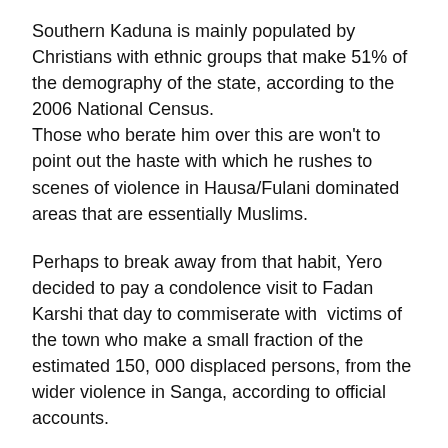Southern Kaduna is mainly populated by Christians with ethnic groups that make 51% of the demography of the state, according to the 2006 National Census. Those who berate him over this are won't to point out the haste with which he rushes to scenes of violence in Hausa/Fulani dominated areas that are essentially Muslims.
Perhaps to break away from that habit, Yero decided to pay a condolence visit to Fadan Karshi that day to commiserate with  victims of the town who make a small fraction of the estimated 150, 000 displaced persons, from the wider violence in Sanga, according to official accounts.
Fadan Karshi, Karshi Daji and Unguwan Ganye, three weeks back, came under another invasion in which 50 people were killed, scores wounded and homes burnt.
But the visit turned out to be a surprising one for Yero and